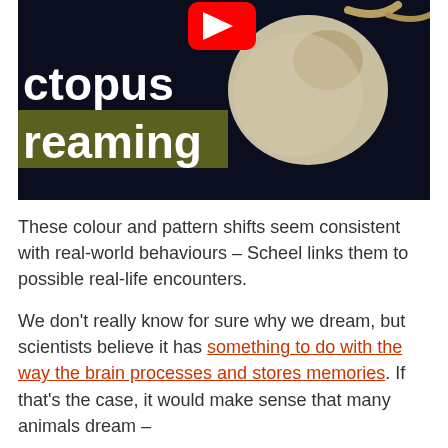[Figure (photo): A YouTube video thumbnail showing an octopus in dark water. Large white bold text on left reads 'ctopus' (partial, cropped) and below it on an olive green background reads 'reaming' (partial, cropped). A red YouTube play button icon is visible at the top center. The octopus appears pale/tan colored against a dark navy background.]
These colour and pattern shifts seem consistent with real-world behaviours – Scheel links them to possible real-life encounters.
We don't really know for sure why we dream, but scientists believe it has something to do with the way the brain processes and stores memories. If that's the case, it would make sense that many animals dream –